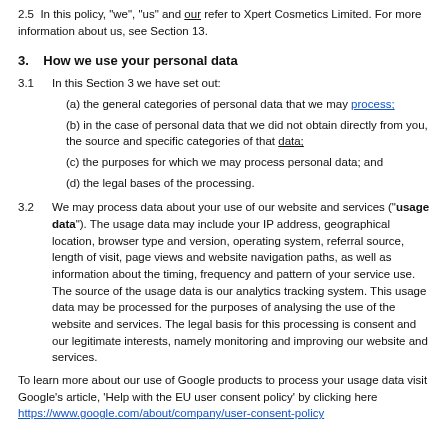2.5  In this policy, "we", "us" and "our" refer to Xpert Cosmetics Limited. For more information about us, see Section 13.
3.    How we use your personal data
3.1  In this Section 3 we have set out:
(a) the general categories of personal data that we may process;
(b) in the case of personal data that we did not obtain directly from you, the source and specific categories of that data;
(c) the purposes for which we may process personal data; and
(d) the legal bases of the processing.
3.2  We may process data about your use of our website and services ("usage data"). The usage data may include your IP address, geographical location, browser type and version, operating system, referral source, length of visit, page views and website navigation paths, as well as information about the timing, frequency and pattern of your service use. The source of the usage data is our analytics tracking system. This usage data may be processed for the purposes of analysing the use of the website and services. The legal basis for this processing is consent and our legitimate interests, namely monitoring and improving our website and services.
To learn more about our use of Google products to process your usage data visit Google's article, 'Help with the EU user consent policy' by clicking here https://www.google.com/about/company/user-consent-policy